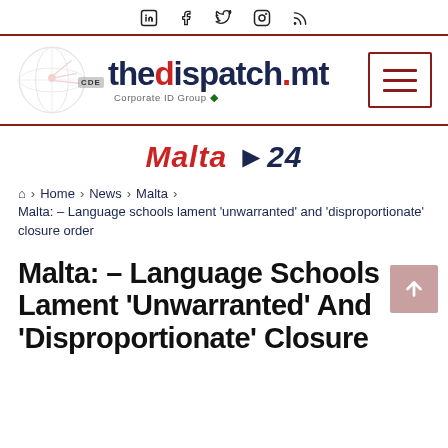LinkedIn Facebook Twitter Instagram RSS
[Figure (logo): thedispatch.mt logo with globe graphic and Corporate ID Group branding]
[Figure (logo): Malta 24 section label in red italic with dark blue 24]
Home › News › Malta › Malta: – Language schools lament 'unwarranted' and 'disproportionate' closure order
Malta: – Language Schools Lament 'Unwarranted' And 'Disproportionate' Closure